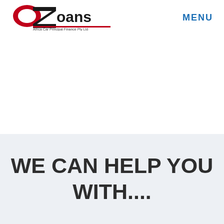OZ Loans Finance Pty Ltd — MENU
[Figure (logo): OZ Loans Finance Pty Ltd logo with red oval O, black diagonal Z shape, black text 'oans' and subtitle 'Africa Car Principal Finance Pty Ltd']
WE CAN HELP YOU WITH....